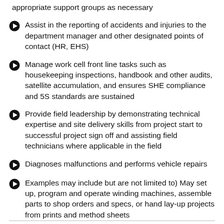appropriate support groups as necessary
Assist in the reporting of accidents and injuries to the department manager and other designated points of contact (HR, EHS)
Manage work cell front line tasks such as housekeeping inspections, handbook and other audits, satellite accumulation, and ensures SHE compliance and 5S standards are sustained
Provide field leadership by demonstrating technical expertise and site delivery skills from project start to successful project sign off and assisting field technicians where applicable in the field
Diagnoses malfunctions and performs vehicle repairs
Examples may include but are not limited to) May set up, program and operate winding machines, assemble parts to shop orders and specs, or hand lay-up projects from prints and method sheets